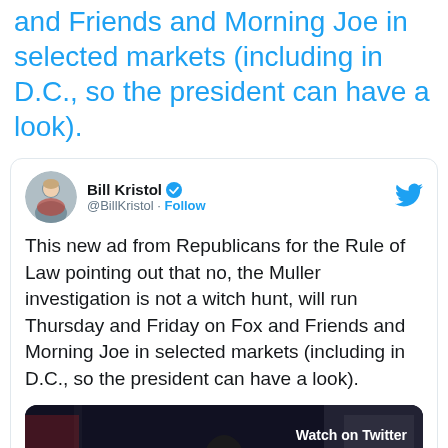and Friends and Morning Joe in selected markets (including in D.C., so the president can have a look).
[Figure (screenshot): Embedded Tweet from Bill Kristol (@BillKristol) with verified badge and Follow button. Tweet text: 'This new ad from Republicans for the Rule of Law pointing out that no, the Muller investigation is not a witch hunt, will run Thursday and Friday on Fox and Friends and Morning Joe in selected markets (including in D.C., so the president can have a look).' Below the tweet text is a video thumbnail showing a dark scene with a person and a 'Watch on Twitter' overlay and a play button.]